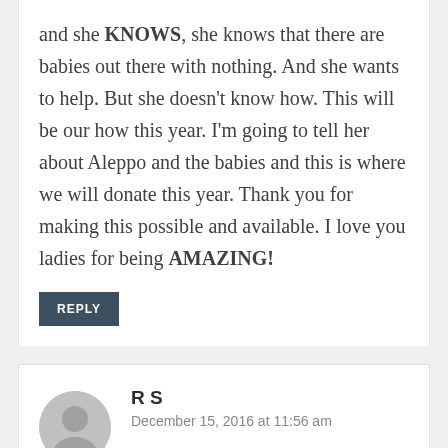and she KNOWS, she knows that there are babies out there with nothing. And she wants to help. But she doesn't know how. This will be our how this year. I'm going to tell her about Aleppo and the babies and this is where we will donate this year. Thank you for making this possible and available. I love you ladies for being AMAZING!
REPLY
R S
December 15, 2016 at 11:56 am
All of those babies – God's babies. God